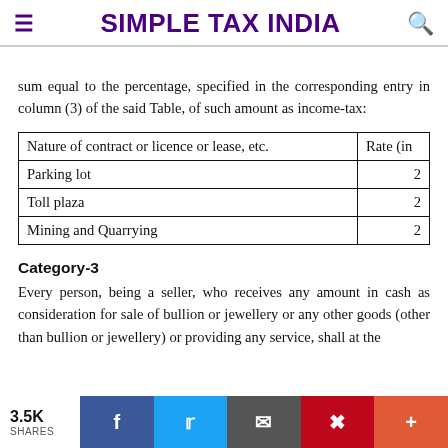SIMPLE TAX INDIA
sum equal to the percentage, specified in the corresponding entry in column (3) of the said Table, of such amount as income-tax:
| Nature of contract or licence or lease, etc. | Rate (in |
| --- | --- |
| Parking lot | 2 |
| Toll plaza | 2 |
| Mining and Quarrying | 2 |
Category-3
Every person, being a seller, who receives any amount in cash as consideration for sale of bullion or jewellery or any other goods (other than bullion or jewellery) or providing any service, shall at the
3.5K SHARES